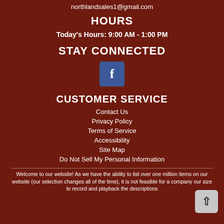northlandsales1@gmail.com
HOURS
Today's Hours: 9:00 AM - 1:00 PM
STAY CONNECTED
[Figure (logo): Facebook logo button, blue square with white f]
CUSTOMER SERVICE
Contact Us
Privacy Policy
Terms of Service
Accessibility
Site Map
Do Not Sell My Personal Information
Welcome to our website! As we have the ability to list over one million items on our website (our selection changes all of the time), it is not feasible for a company our size to record and playback the descriptions